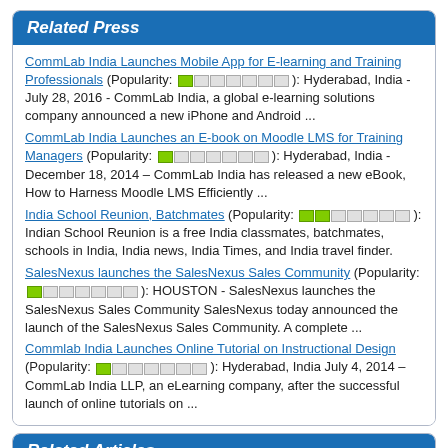Related Press
CommLab India Launches Mobile App for E-learning and Training Professionals (Popularity: 1/7): Hyderabad, India - July 28, 2016 - CommLab India, a global e-learning solutions company announced a new iPhone and Android ...
CommLab India Launches an E-book on Moodle LMS for Training Managers (Popularity: 1/7): Hyderabad, India - December 18, 2014 – CommLab India has released a new eBook, How to Harness Moodle LMS Efficiently ...
India School Reunion, Batchmates (Popularity: 2/7): Indian School Reunion is a free India classmates, batchmates, schools in India, India news, India Times, and India travel finder.
SalesNexus launches the SalesNexus Sales Community (Popularity: 1/7): HOUSTON - SalesNexus launches the SalesNexus Sales Community SalesNexus today announced the launch of the SalesNexus Sales Community. A complete ...
Commlab India Launches Online Tutorial on Instructional Design (Popularity: 1/7): Hyderabad, India July 4, 2014 – CommLab India LLP, an eLearning company, after the successful launch of online tutorials on ...
Related Articles
PHP Developer India from Ifuturz.com (Popularity: 2/7): The Internet is the biggest source of online trade and commerce that has revolutionized business activities across the globe. It ...
Call Center Outsourcing: growing industry in India (Popularity: 2/7): If